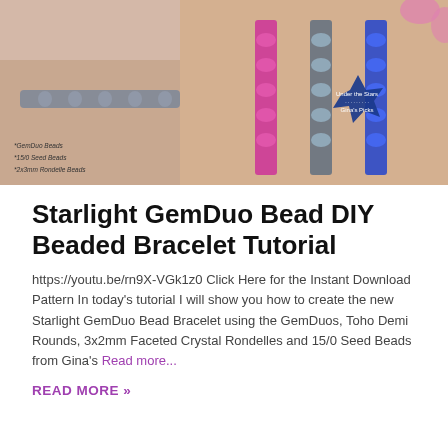BEADING TUTORIAL
[Figure (photo): Photo of colorful GemDuo beaded bracelets held in a hand — a silver/grey bracelet on the left wrist, and three bracelets (pink/magenta, teal/silver, blue) being held by fingers on the right. A dark blue star-burst badge reads 'Under the Stars / Gina's Picks'. Small text lists: *GemDuo Beads, *15/0 Seed Beads, *2x3mm Rondelle Beads.]
Starlight GemDuo Bead DIY Beaded Bracelet Tutorial
https://youtu.be/rn9X-VGk1z0 Click Here for the Instant Download Pattern In today's tutorial I will show you how to create the new Starlight GemDuo Bead Bracelet using the GemDuos, Toho Demi Rounds, 3x2mm Faceted Crystal Rondelles and 15/0 Seed Beads from Gina's Read more...
READ MORE »